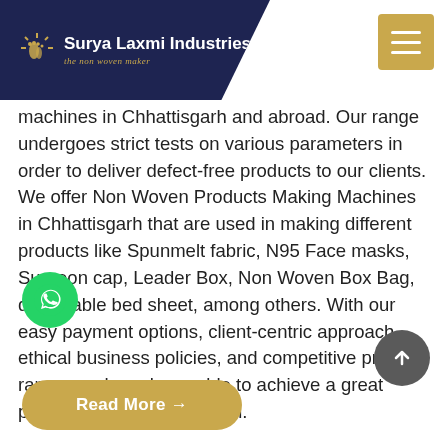Surya Laxmi Industries — the non woven maker
machines in Chhattisgarh and abroad. Our range undergoes strict tests on various parameters in order to deliver defect-free products to our clients. We offer Non Woven Products Making Machines in Chhattisgarh that are used in making different products like Spunmelt fabric, N95 Face masks, Surgeon cap, Leader Box, Non Woven Box Bag, disposable bed sheet, among others. With our easy payment options, client-centric approach, ethical business policies, and competitive price range, we have been able to achieve a great position in the Chhattisgarh.